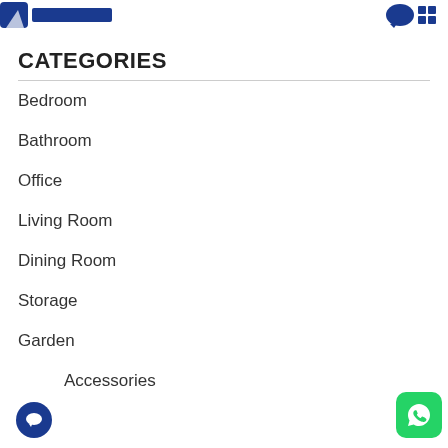Header with logo and icons
CATEGORIES
Bedroom
Bathroom
Office
Living Room
Dining Room
Storage
Garden
Accessories